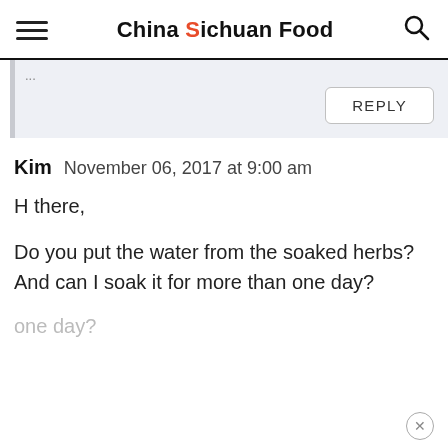China Sichuan Food
REPLY
Kim   November 06, 2017 at 9:00 am
H there,

Do you put the water from the soaked herbs? And can I soak it for more than one day?